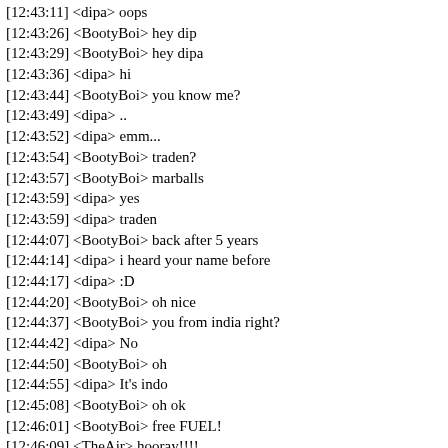[12:43:11] <dipa> oops
[12:43:26] <BootyBoi> hey dip
[12:43:29] <BootyBoi> hey dipa
[12:43:36] <dipa> hi
[12:43:44] <BootyBoi> you know me?
[12:43:49] <dipa> ..
[12:43:52] <dipa> emm...
[12:43:54] <BootyBoi> traden?
[12:43:57] <BootyBoi> marballs
[12:43:59] <dipa> yes
[12:43:59] <dipa> traden
[12:44:07] <BootyBoi> back after 5 years
[12:44:14] <dipa> i heard your name before
[12:44:17] <dipa> :D
[12:44:20] <BootyBoi> oh nice
[12:44:37] <BootyBoi> you from india right?
[12:44:42] <dipa> No
[12:44:50] <BootyBoi> oh
[12:44:55] <dipa> It's indo
[12:45:08] <BootyBoi> oh ok
[12:46:01] <BootyBoi> free FUEL!
[12:46:09] <TheAir> hooray!!!!
[12:46:32] <dipa> now i can alt tab while fueling :v
[12:48:19] <dipa> wb
[12:48:32] <BootyBoi> wb